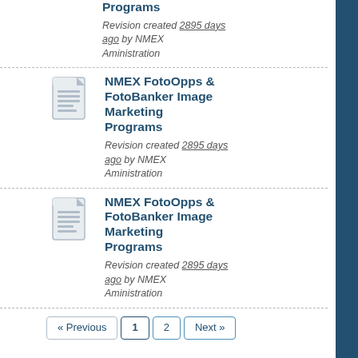Programs
Revision created 2895 days ago by NMEX Aministration
[Figure (illustration): Document icon representing a text file]
NMEX FotoOpps & FotoBanker Image Marketing Programs
Revision created 2895 days ago by NMEX Aministration
[Figure (illustration): Document icon representing a text file]
NMEX FotoOpps & FotoBanker Image Marketing Programs
Revision created 2895 days ago by NMEX Aministration
« Previous  1  2  Next »